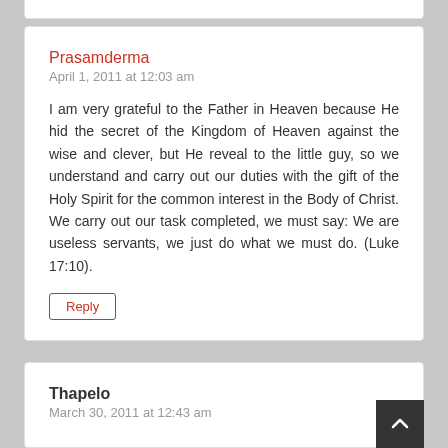Prasamderma
April 1, 2011 at 12:03 am
I am very grateful to the Father in Heaven because He hid the secret of the Kingdom of Heaven against the wise and clever, but He reveal to the little guy, so we understand and carry out our duties with the gift of the Holy Spirit for the common interest in the Body of Christ. We carry out our task completed, we must say: We are useless servants, we just do what we must do. (Luke 17:10).
Reply
Thapelo
March 30, 2011 at 12:43 am